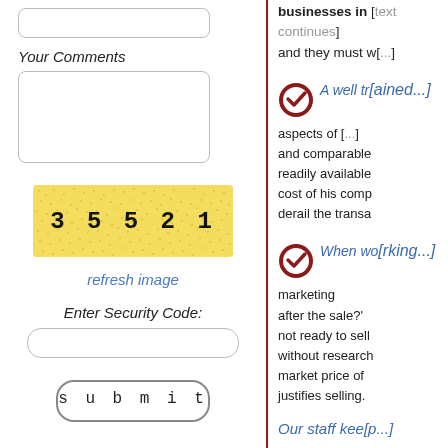[Figure (other): Web form input field (top, partially visible)]
Your Comments
[Figure (other): Textarea input box for comments]
[Figure (other): CAPTCHA image showing '35521' with yellow/gold noise background]
refresh image
Enter Security Code:
[Figure (other): Security code input field]
[Figure (other): Submit button]
businesses in [text cut off] and they must w[text cut off]
A well tr[ained...] aspects of [text cut off] and comparable [text cut off] readily available [text cut off] cost of his comp[any text cut off] derail the transa[ction text cut off]
When wo[rking on...] marketing [text cut off] after the sale?' [text cut off] not ready to sell [text cut off] without research[ing text cut off] market price of [text cut off] justifies selling.
Our staff kee[p text cut off]